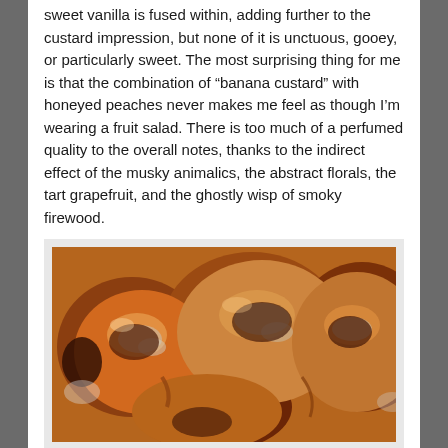sweet vanilla is fused within, adding further to the custard impression, but none of it is unctuous, gooey, or particularly sweet. The most surprising thing for me is that the combination of “banana custard” with honeyed peaches never makes me feel as though I’m wearing a fruit salad. There is too much of a perfumed quality to the overall notes, thanks to the indirect effect of the musky animalics, the abstract florals, the tart grapefruit, and the ghostly wisp of smoky firewood.
[Figure (photo): Close-up photo of glazed roasted peaches or similar caramelized fruit on a white plate, showing rich amber and dark caramel colors with glossy syrup.]
— Source: vegonline.org